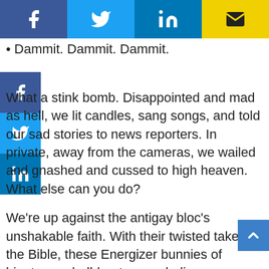• Dammit. Dammit. Dammit.
What a stink bomb. Disappointed and mad as hell, we lit candles, sang songs, and told our sad stories to news reporters. In private, away from the cameras, we wailed and gnashed and cussed to high heaven. What else can you do?
We're up against the antigay bloc's unshakable faith. With their twisted take on the Bible, these Energizer bunnies of bigotry are hell-bent on excluding some people from equality—no matter how just our cause, how worthy our souls, how fabulous our parades.